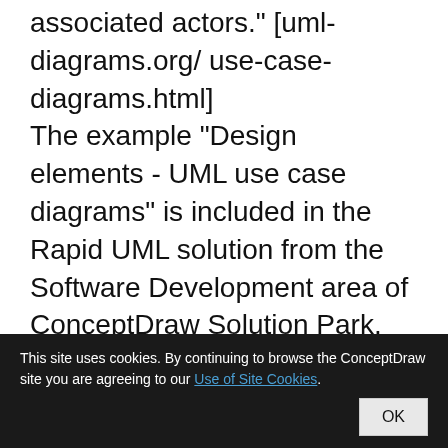associated actors." [uml-diagrams.org/ use-case-diagrams.html] The example "Design elements - UML use case diagrams" is included in the Rapid UML solution from the Software Development area of ConceptDraw Solution Park.
Used Solutions
Software Development > Rapid UML
This site uses cookies. By continuing to browse the ConceptDraw site you are agreeing to our Use of Site Cookies.